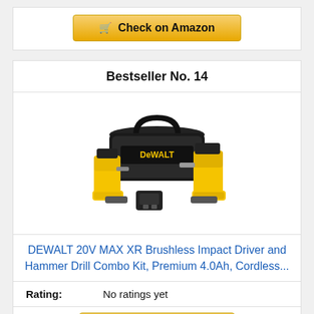[Figure (other): Check on Amazon button with shopping cart icon, yellow/gold gradient button]
Bestseller No. 14
[Figure (photo): DEWALT 20V MAX XR Brushless Impact Driver and Hammer Drill Combo Kit product photo showing two yellow power tools and a black carrying bag with charger]
DEWALT 20V MAX XR Brushless Impact Driver and Hammer Drill Combo Kit, Premium 4.0Ah, Cordless...
Rating: No ratings yet
[Figure (other): Partial Check on Amazon button at bottom]